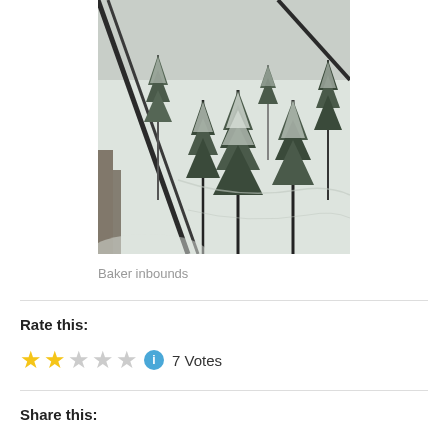[Figure (photo): Snow-covered pine trees on a ski slope at Baker inbounds, black and white/gray tones, view from ski lift or similar overhead perspective]
Baker inbounds
Rate this:
2 out of 5 stars — 7 Votes
Share this: